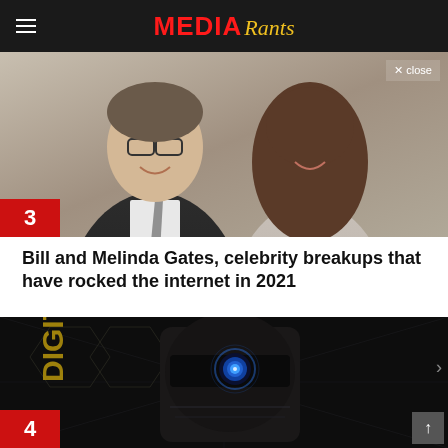MEDIA Rants
[Figure (photo): Bill and Melinda Gates smiling together, man in dark suit with tie on left, woman with wavy hair on right, number badge 3 in lower left corner, close button in upper right]
Bill and Melinda Gates, celebrity breakups that have rocked the internet in 2021
[Figure (photo): Dark sci-fi / cyberpunk image showing a robotic or armored figure with glowing blue circular eye, 'DIGITAL' text visible on left side, number badge 4 in lower left corner, scroll up button in lower right]